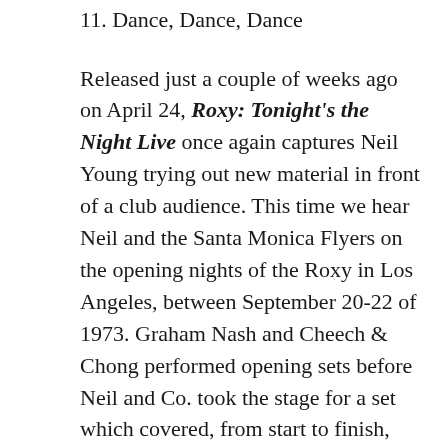11. Dance, Dance, Dance
Released just a couple of weeks ago on April 24, Roxy: Tonight's the Night Live once again captures Neil Young trying out new material in front of a club audience.  This time we hear Neil and the Santa Monica Flyers on the opening nights of the Roxy in Los Angeles, between September 20-22 of 1973.  Graham Nash and Cheech & Chong performed opening sets before Neil and Co. took the stage for a set which covered, from start to finish, the tracks they'd spent the summer working on that would ultimately appear on Tonight's the Night when it was finally released in 1975.  Also performed was Walk On from the following year's On the Beach. Since this was the first time the…